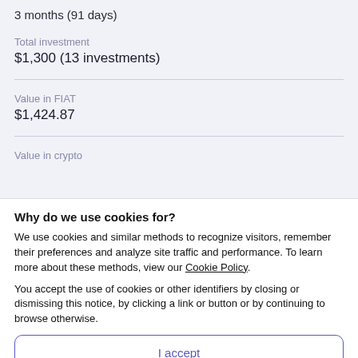3 months (91 days)
Total investment
$1,300 (13 investments)
Value in FIAT
$1,424.87
Value in crypto
Why do we use cookies for?
We use cookies and similar methods to recognize visitors, remember their preferences and analyze site traffic and performance. To learn more about these methods, view our Cookie Policy.
You accept the use of cookies or other identifiers by closing or dismissing this notice, by clicking a link or button or by continuing to browse otherwise.
I accept